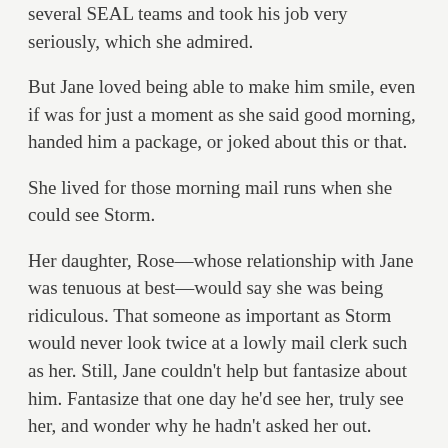several SEAL teams and took his job very seriously, which she admired.
But Jane loved being able to make him smile, even if was for just a moment as she said good morning, handed him a package, or joked about this or that.
She lived for those morning mail runs when she could see Storm.
Her daughter, Rose—whose relationship with Jane was tenuous at best—would say she was being ridiculous. That someone as important as Storm would never look twice at a lowly mail clerk such as her. Still, Jane couldn't help but fantasize about him. Fantasize that one day he'd see her, truly see her, and wonder why he hadn't asked her out.
But Jane didn't actually think that would ever happen. She just wasn't his type. Not that she really knew him at all, except that he used to be a SEAL himself. But she assumed he'd prefer someone beautiful, slender. He was so good-looking and in shape, and she…wasn't. Jane didn't make a